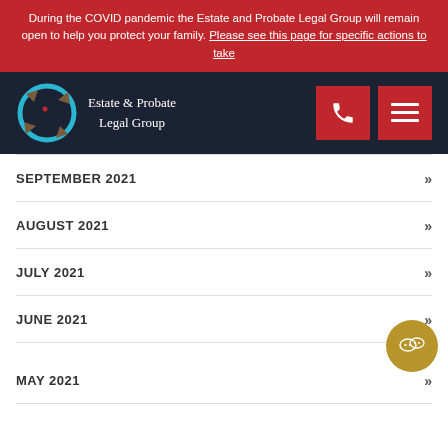During the COVID pandemic the Estate and Probate Legal Group will remain open to help you protect your family. Please see this page for specific actions to take
[Figure (logo): Estate & Probate Legal Group logo with circular arrow/target icon on dark navy background, plus phone and menu buttons]
SEPTEMBER 2021
AUGUST 2021
JULY 2021
JUNE 2021
MAY 2021